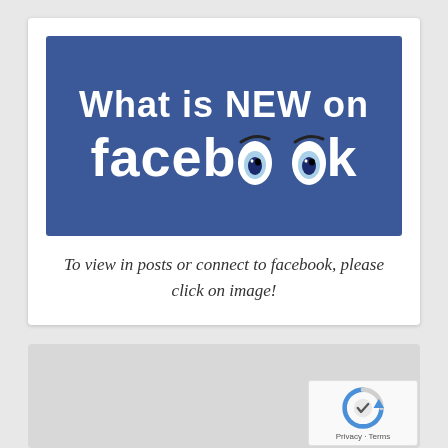[Figure (illustration): Blue Facebook-branded banner image with white bold text reading 'What is NEW on facebook' where the two o's in 'facebook' are replaced with cartoon eyes]
To view in posts or connect to facebook, please click on image!
[Figure (other): Gray empty card area with reCAPTCHA badge in bottom-right corner showing Privacy and Terms links]